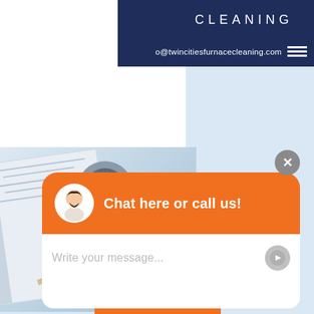CLEANING
o@twincitiesfurnacecleaning.com
[Figure (screenshot): Website screenshot showing a light blue background with a white panel top-left, a photo of a coffee cup and notebook on a desk, a 'Blog' heading, and a chat widget overlay with orange header saying 'Chat here or call us!' and a message input area.]
Blog
Chat here or call us!
Write your message...